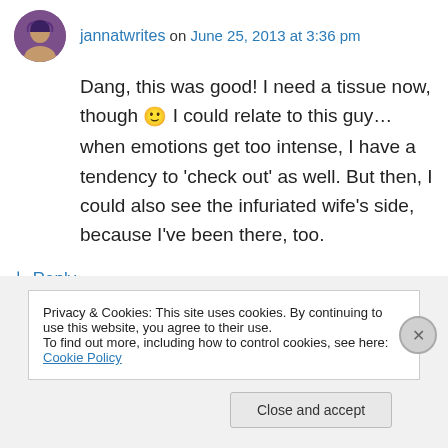jannatwrites on June 25, 2013 at 3:36 pm
Dang, this was good! I need a tissue now, though 🙂 I could relate to this guy…when emotions get too intense, I have a tendency to 'check out' as well. But then, I could also see the infuriated wife's side, because I've been there, too.
↳ Reply
Privacy & Cookies: This site uses cookies. By continuing to use this website, you agree to their use.
To find out more, including how to control cookies, see here: Cookie Policy
Close and accept